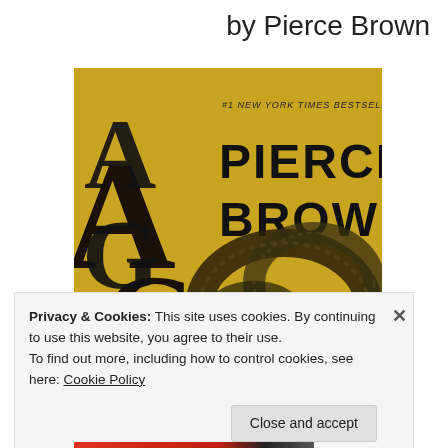by Pierce Brown
[Figure (illustration): Book cover of a Pierce Brown novel (partial title visible as 'AGE') showing the author name 'PIERCE BROWN' and tagline '#1 NEW YORK TIMES BESTSELLING AUTHOR' on a golden background with a coiled dark rope or snake graphic.]
Privacy & Cookies: This site uses cookies. By continuing to use this website, you agree to their use.
To find out more, including how to control cookies, see here: Cookie Policy
Close and accept